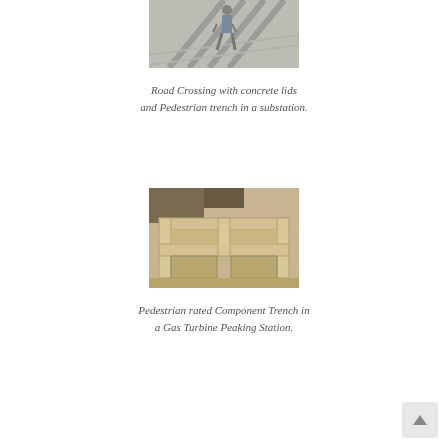[Figure (photo): A person walking on a road crossing with concrete lids over a trench, viewed from above at an angle.]
Road Crossing with concrete lids and Pedestrian trench in a substation.
[Figure (photo): A pedestrian rated component trench under construction, showing concrete formwork sections in sandy ground at a gas turbine peaking station.]
Pedestrian rated Component Trench in a Gas Turbine Peaking Station.